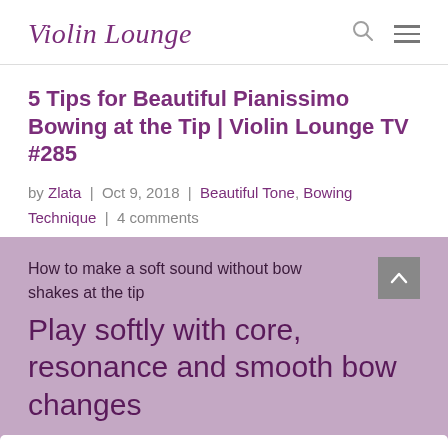Violin Lounge
5 Tips for Beautiful Pianissimo Bowing at the Tip | Violin Lounge TV #285
by Zlata | Oct 9, 2018 | Beautiful Tone, Bowing Technique | 4 comments
How to make a soft sound without bow shakes at the tip
Play softly with core, resonance and smooth bow changes